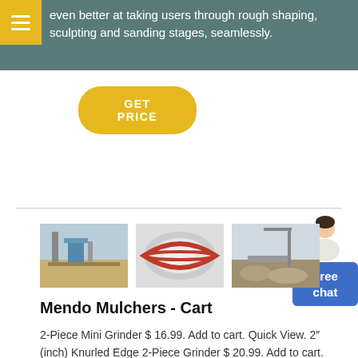even better at taking users through rough shaping, sculpting and sanding stages, seamlessly.
[Figure (other): Yellow 'GET PRICE' call-to-action button]
[Figure (other): Customer service chat widget with person illustration and blue 'Free chat' button]
[Figure (photo): Three product photos showing industrial grinding/milling equipment and machinery]
Mendo Mulchers - Cart
2-Piece Mini Grinder $ 16.99. Add to cart. Quick View. 2" (inch) Knurled Edge 2-Piece Grinder $ 20.99. Add to cart. Quick View. 1.75" (inch) Double